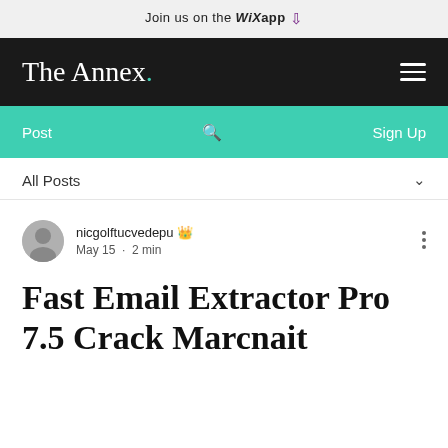Join us on the WiX app
The Annex.
Post  Sign Up
All Posts
nicgolftucvedepu  May 15 · 2 min
Fast Email Extractor Pro 7.5 Crack Marcnait